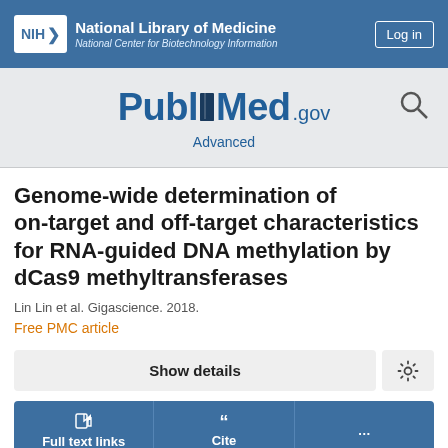National Library of Medicine — National Center for Biotechnology Information
[Figure (logo): PubMed.gov logo with search icon and Advanced link]
Genome-wide determination of on-target and off-target characteristics for RNA-guided DNA methylation by dCas9 methyltransferases
Lin Lin et al. Gigascience. 2018.
Free PMC article
Show details
Full text links
Cite